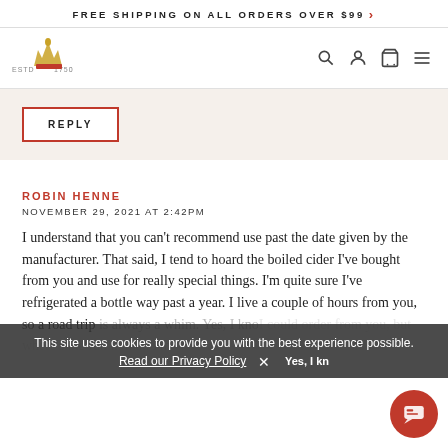FREE SHIPPING ON ALL ORDERS OVER $99 >
[Figure (logo): Brand logo: crown/wheat icon with 'ESTD 1750' text]
[Figure (infographic): Navigation icons: search, user, cart, hamburger menu]
REPLY
ROBIN HENNE
NOVEMBER 29, 2021 AT 2:42PM
I understand that you can't recommend use past the date given by the manufacturer. That said, I tend to hoard the boiled cider I've bought from you and use for really special things. I'm quite sure I've refrigerated a bottle way past a year. I live a couple of hours from you, so a road trip is always a whim. Yes, I know I could order from you, but where's the fun in that. I'm about to try making some myself. Thanks for the
This site uses cookies to provide you with the best experience possible.
Read our Privacy Policy